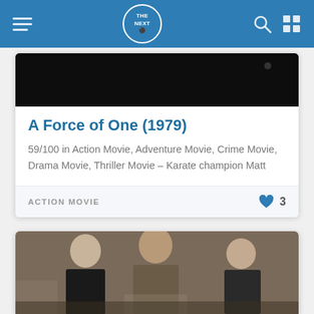THE NEXT — navigation bar
[Figure (screenshot): Dark movie still / thumbnail image at top of card]
A Force of One (1979)
59/100 in Action Movie, Adventure Movie, Crime Movie, Drama Movie, Thriller Movie – Karate champion Matt
ACTION MOVIE
[Figure (photo): Black and white movie still showing three men — an older bald man on the left, a tall man with brown hair in the center wearing a tweed jacket, and another older man on the right — appearing to be in a parking garage or industrial setting.]